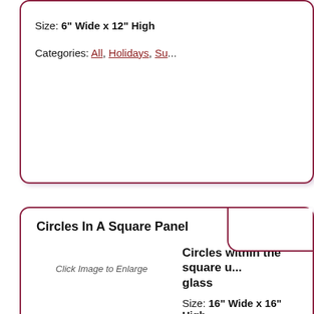Size: 6" Wide x 12" High
Categories: All, Holidays, Su...
Circles In A Square Panel
Click Image to Enlarge
Circles within the square u... glass
Size: 16" Wide x 16" High
Categories: All, Geometric, ...
Circles In A Square Panel
Click Image to Enlarge
Circles within the square...